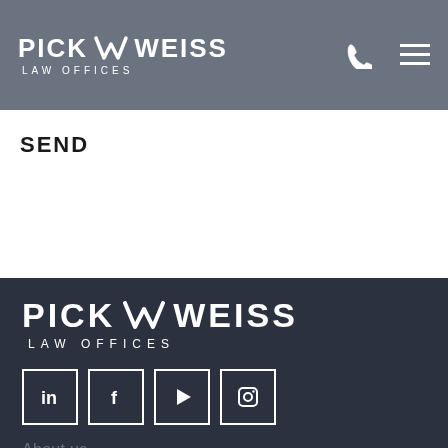PICK W WEISS LAW OFFICES
SEND
[Figure (logo): Pick W Weiss Law Offices logo in white on dark background]
[Figure (infographic): Social media icons: LinkedIn, Facebook, YouTube, Instagram in white outlined squares]
About us